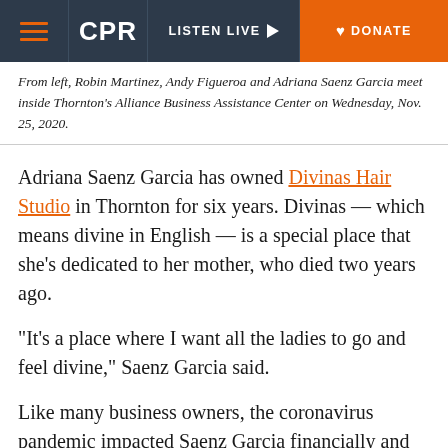CPR | LISTEN LIVE | DONATE
From left, Robin Martinez, Andy Figueroa and Adriana Saenz Garcia meet inside Thornton's Alliance Business Assistance Center on Wednesday, Nov. 25, 2020.
Adriana Saenz Garcia has owned Divinas Hair Studio in Thornton for six years. Divinas — which means divine in English — is a special place that she's dedicated to her mother, who died two years ago.
“It's a place where I want all the ladies to go and feel divine,” Saenz Garcia said.
Like many business owners, the coronavirus pandemic impacted Saenz Garcia financially and she had to close the salon for two months.